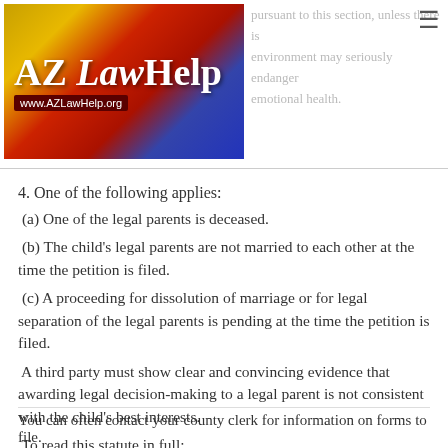[Figure (logo): AZ LawHelp logo with Arizona state flag background, www.AZLawHelp.org]
pursuant to this section, unless there is environment may seriously endanger emotional health.
4. One of the following applies:
(a) One of the legal parents is deceased.
(b) The child's legal parents are not married to each other at the time the petition is filed.
(c) A proceeding for dissolution of marriage or for legal separation of the legal parents is pending at the time the petition is filed.
A third party must show clear and convincing evidence that awarding legal decision-making to a legal parent is not consistent with the child's best interests.
To read this statute in full: http://www.azleg.state.az.us/ars/25/00409.htm
You can often contact your county clerk for information on forms to file.